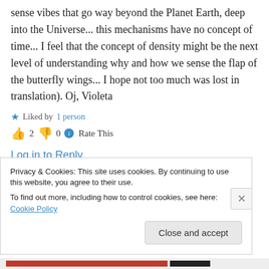sense vibes that go way beyond the Planet Earth, deep into the Universe... this mechanisms have no concept of time... I feel that the concept of density might be the next level of understanding why and how we sense the flap of the butterfly wings... I hope not too much was lost in translation). Oj, Violeta
★ Liked by 1 person
👍 2 👎 0 ℹ Rate This
Log in to Reply
Privacy & Cookies: This site uses cookies. By continuing to use this website, you agree to their use.
To find out more, including how to control cookies, see here: Cookie Policy
Close and accept